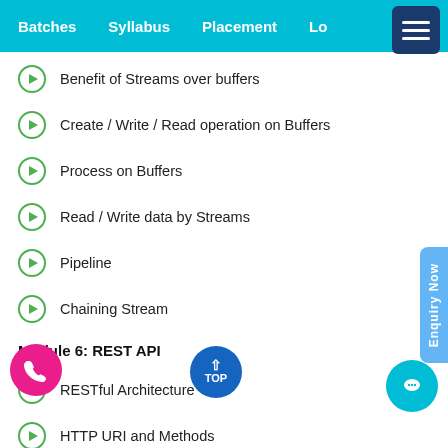Batches   Syllabus   Placement   Lo...
Benefit of Streams over buffers
Create / Write / Read operation on Buffers
Process on Buffers
Read / Write data by Streams
Pipeline
Chaining Stream
Module 6: REST API
RESTful Architecture
HTTP URI and Methods
RESTful web services
Expose solution as API